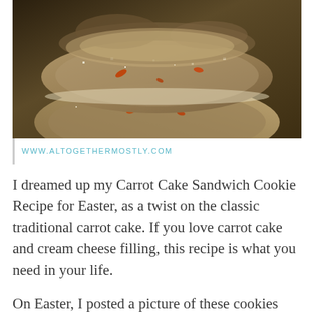[Figure (photo): Close-up photo of carrot cake sandwich cookies stacked, showing texture with visible carrot pieces and sugar coating]
WWW.ALTOGETHERMOSTLY.COM
I dreamed up my Carrot Cake Sandwich Cookie Recipe for Easter, as a twist on the classic traditional carrot cake. If you love carrot cake and cream cheese filling, this recipe is what you need in your life.
On Easter, I posted a picture of these cookies and I got requests for the recipe. So here we are. I am sharing them with